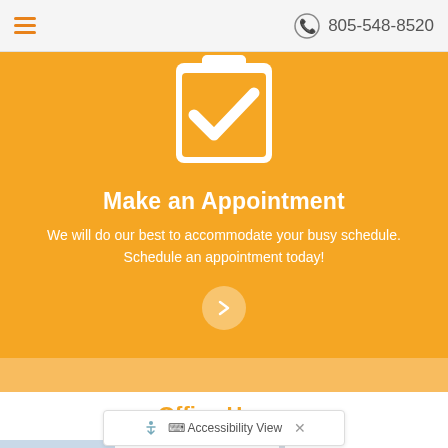805-548-8520
[Figure (illustration): Clipboard with checkmark icon on orange background]
Make an Appointment
We will do our best to accommodate your busy schedule. Schedule an appointment today!
Office Hours
Our Regular Schedule
| Day | Morning | Afternoon |
| --- | --- | --- |
| Monday: | 10:00 am - | 1 - 5:00 pm |
Accessibility View